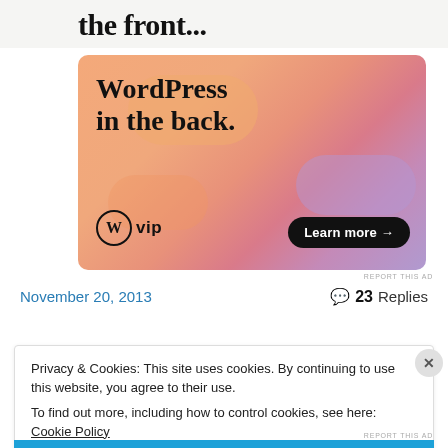the front...
[Figure (illustration): WordPress VIP advertisement banner with orange-pink gradient background, large text reading 'WordPress in the back.' with WordPress VIP logo and 'Learn more' button]
REPORT THIS AD
November 20, 2013
💬 23 Replies
Privacy & Cookies: This site uses cookies. By continuing to use this website, you agree to their use.
To find out more, including how to control cookies, see here: Cookie Policy
Close and accept